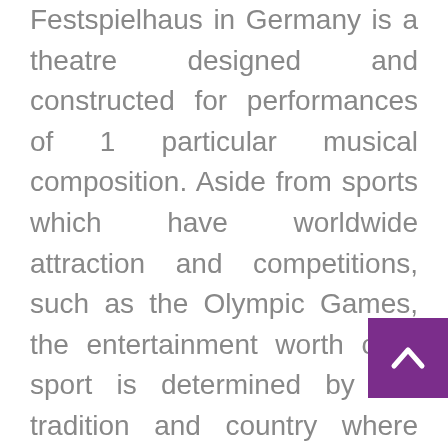Festspielhaus in Germany is a theatre designed and constructed for performances of 1 particular musical composition. Aside from sports which have worldwide attraction and competitions, such as the Olympic Games, the entertainment worth of a sport is determined by the tradition and country where people play it. For instance, in the United States, baseball and basketball video games are in style forms of leisure; in Bhutan, the nationwide sport is archery; in New Zealand, it's rugby union; in Iran, is freestyle wrestling.

Vaulting poles, for instance, had been
[Figure (other): Purple scroll-to-top button with upward chevron arrow]